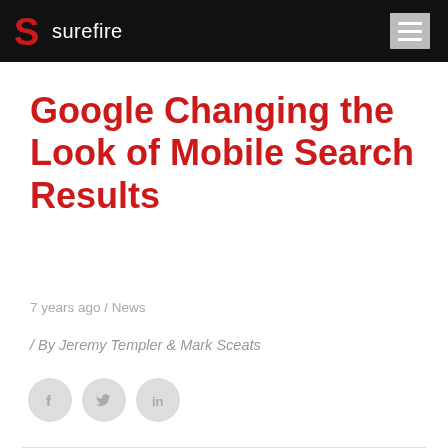surefire
Google Changing the Look of Mobile Search Results
7 years ago / News
/ By Jeremy Templer & Mark Sceats
[Figure (infographic): Social share icons: Facebook (f), Twitter (bird), LinkedIn (in) — grey circles]